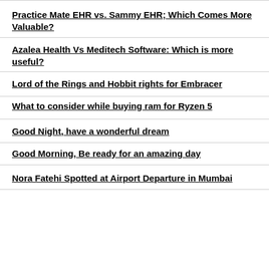Practice Mate EHR vs. Sammy EHR; Which Comes More Valuable?
Azalea Health Vs Meditech Software: Which is more useful?
Lord of the Rings and Hobbit rights for Embracer
What to consider while buying ram for Ryzen 5
Good Night, have a wonderful dream
Good Morning, Be ready for an amazing day
Nora Fatehi Spotted at Airport Departure in Mumbai